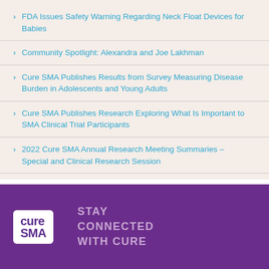FDA Issues Safety Warning Regarding Neck Float Devices for Babies
Community Spotlight: Alexandra and Joe Lakhman
Cure SMA Publishes Results from Survey Measuring Disease Burden in Adolescents and Young Adults
Cure SMA Publishes Research Exploring What Is Important to SMA Clinical Trial Participants
2022 Cure SMA Annual Research Meeting Summaries – Special and Clinical Research Session
Cure SMA logo | STAY CONNECTED WITH CURE